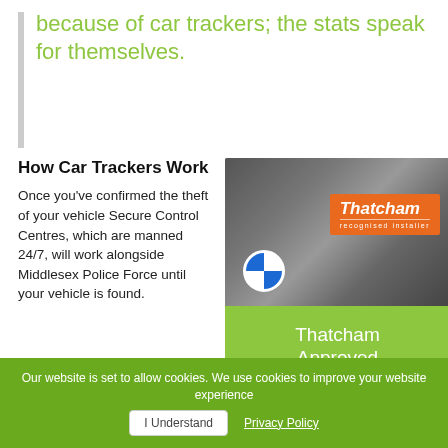because of car trackers; the stats speak for themselves.
How Car Trackers Work
Once you’ve confirmed the theft of your vehicle Secure Control Centres, which are manned 24/7, will work alongside Middlesex Police Force until your vehicle is found.
[Figure (photo): Photo of a car engine bay with a Thatcham recognised installer orange badge overlaid, and a green banner below reading 'Thatcham Approved']
Our website is set to allow cookies. We use cookies to improve your website experience  I Understand  Privacy Policy